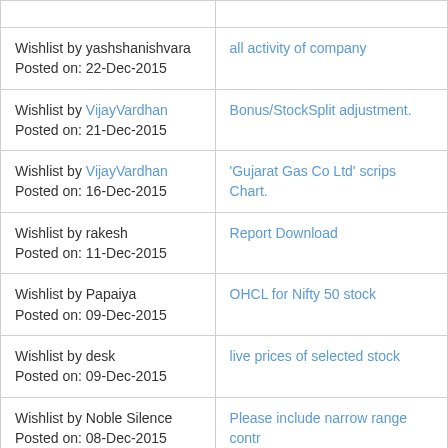| Wishlist / Posted on | Request |
| --- | --- |
| Wishlist by yashshanishvara
Posted on: 22-Dec-2015 | all activity of company |
| Wishlist by VijayVardhan
Posted on: 21-Dec-2015 | Bonus/StockSplit adjustment. |
| Wishlist by VijayVardhan
Posted on: 16-Dec-2015 | 'Gujarat Gas Co Ltd' scrips Chart. |
| Wishlist by rakesh
Posted on: 11-Dec-2015 | Report Download |
| Wishlist by Papaiya
Posted on: 09-Dec-2015 | OHCL for Nifty 50 stock |
| Wishlist by desk
Posted on: 09-Dec-2015 | live prices of selected stock |
| Wishlist by Noble Silence
Posted on: 08-Dec-2015 | Please include narrow range contr |